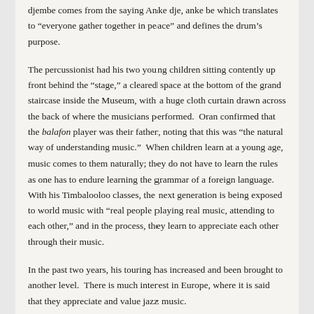djembe comes from the saying Anke dje, anke be which translates to “everyone gather together in peace” and defines the drum’s purpose.
The percussionist had his two young children sitting contently up front behind the “stage,” a cleared space at the bottom of the grand staircase inside the Museum, with a huge cloth curtain drawn across the back of where the musicians performed.  Oran confirmed that the balafon player was their father, noting that this was “the natural way of understanding music.”  When children learn at a young age, music comes to them naturally; they do not have to learn the rules as one has to endure learning the grammar of a foreign language.  With his Timbalooloo classes, the next generation is being exposed to world music with “real people playing real music, attending to each other,” and in the process, they learn to appreciate each other through their music.
In the past two years, his touring has increased and been brought to another level.  There is much interest in Europe, where it is said that they appreciate and value jazz music.